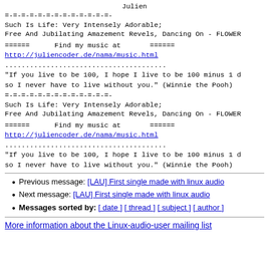Julien
=-=-=-=-=-=-=-=-=-=-=-=-=-
Such Is Life: Very Intensely Adorable;
Free And Jubilating Amazement Revels, Dancing On - FLOWER
======      Find my music at       ======
http://juliencoder.de/nama/music.html
.......................................
"If you live to be 100, I hope I live to be 100 minus 1 d
so I never have to live without you." (Winnie the Pooh)
=-=-=-=-=-=-=-=-=-=-=-=-=-
Such Is Life: Very Intensely Adorable;
Free And Jubilating Amazement Revels, Dancing On - FLOWER
======      Find my music at       ======
http://juliencoder.de/nama/music.html
.......................................
"If you live to be 100, I hope I live to be 100 minus 1 d
so I never have to live without you." (Winnie the Pooh)
Previous message: [LAU] First single made with linux audio
Next message: [LAU] First single made with linux audio
Messages sorted by: [ date ] [ thread ] [ subject ] [ author ]
More information about the Linux-audio-user mailing list